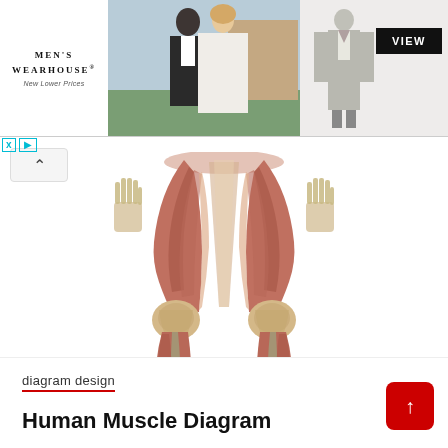[Figure (screenshot): Men's Wearhouse advertisement banner showing a couple in formal wear and a suit with a VIEW button]
[Figure (illustration): Anatomical illustration of human lower body muscles (front view) showing the legs from hips to feet, with hands/wrists visible at sides. Muscles are shown in red-brown/tan tones with tendons and bones visible at knees and feet.]
diagram design
Human Muscle Diagram